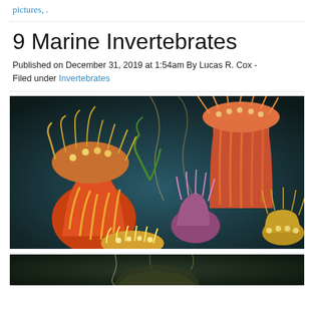pictures, .
9 Marine Invertebrates
Published on December 31, 2019 at 1:54am By Lucas R. Cox - Filed under Invertebrates
[Figure (photo): Colorful illustration of marine invertebrates, specifically sea anemones with bright yellows, reds, oranges, pinks and purples against a dark blue-green ocean background]
[Figure (photo): Partial view of another marine invertebrate photograph at the bottom of the page]